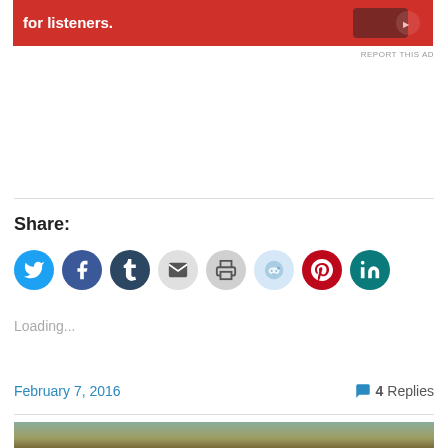[Figure (other): Red advertisement banner for Pocket Casts with text 'for listeners.' and a phone icon]
REPORT THIS AD
Share:
[Figure (infographic): Row of social sharing icon circles: Twitter (blue), Facebook (blue), Tumblr (dark navy), Email (gray), Print (gray), Reddit (light blue), Pinterest (red), LinkedIn (teal)]
Loading...
February 7, 2016
4 Replies
[Figure (photo): Partial view of a portrait painting showing a person with brown hair against a olive/teal background]